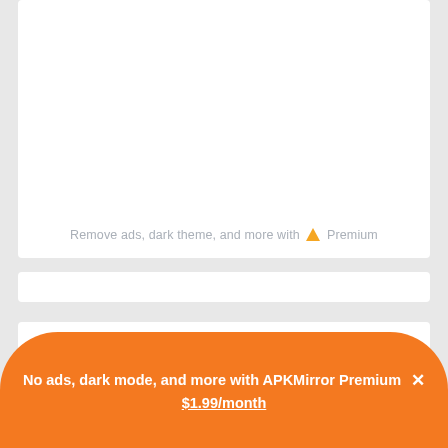Remove ads, dark theme, and more with ▲ Premium
Previous APKs for (arm64-v8a) (Android 6.0+) variant
Xperia Japanese keyboard 3.3.A.1.7
No ads, dark mode, and more with APKMirror Premium ✕
$1.99/month